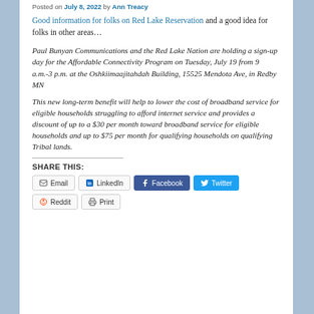Posted on July 8, 2022 by Ann Treacy
Good information for folks on Red Lake Reservation and a good idea for folks in other areas…
Paul Bunyan Communications and the Red Lake Nation are holding a sign-up day for the Affordable Connectivity Program on Tuesday, July 19 from 9 a.m.-3 p.m. at the Oshkiimaajitahdah Building, 15525 Mendota Ave, in Redby MN
This new long-term benefit will help to lower the cost of broadband service for eligible households struggling to afford internet service and provides a discount of up to a $30 per month toward broadband service for eligible households and up to $75 per month for qualifying households on qualifying Tribal lands.
SHARE THIS:
Email | LinkedIn | Facebook | Twitter | Reddit | Print